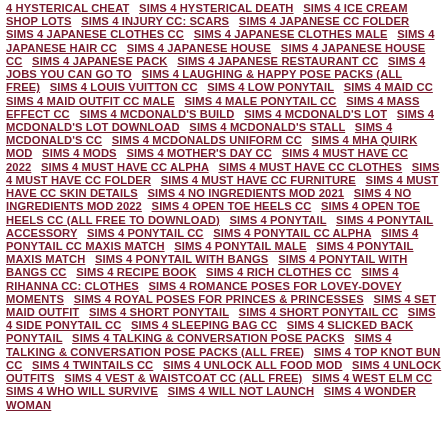4 HYSTERICAL CHEAT   SIMS 4 HYSTERICAL DEATH   SIMS 4 ICE CREAM SHOP LOTS   SIMS 4 INJURY CC: SCARS   SIMS 4 JAPANESE CC FOLDER   SIMS 4 JAPANESE CLOTHES CC   SIMS 4 JAPANESE CLOTHES MALE   SIMS 4 JAPANESE HAIR CC   SIMS 4 JAPANESE HOUSE   SIMS 4 JAPANESE HOUSE CC   SIMS 4 JAPANESE PACK   SIMS 4 JAPANESE RESTAURANT CC   SIMS 4 JOBS YOU CAN GO TO   SIMS 4 LAUGHING & HAPPY POSE PACKS (ALL FREE)   SIMS 4 LOUIS VUITTON CC   SIMS 4 LOW PONYTAIL   SIMS 4 MAID CC   SIMS 4 MAID OUTFIT CC MALE   SIMS 4 MALE PONYTAIL CC   SIMS 4 MASS EFFECT CC   SIMS 4 MCDONALD'S BUILD   SIMS 4 MCDONALD'S LOT   SIMS 4 MCDONALD'S LOT DOWNLOAD   SIMS 4 MCDONALD'S STALL   SIMS 4 MCDONALD'S CC   SIMS 4 MCDONALDS UNIFORM CC   SIMS 4 MHA QUIRK MOD   SIMS 4 MODS   SIMS 4 MOTHER'S DAY CC   SIMS 4 MUST HAVE CC 2022   SIMS 4 MUST HAVE CC ALPHA   SIMS 4 MUST HAVE CC CLOTHES   SIMS 4 MUST HAVE CC FOLDER   SIMS 4 MUST HAVE CC FURNITURE   SIMS 4 MUST HAVE CC SKIN DETAILS   SIMS 4 NO INGREDIENTS MOD 2021   SIMS 4 NO INGREDIENTS MOD 2022   SIMS 4 OPEN TOE HEELS CC   SIMS 4 OPEN TOE HEELS CC (ALL FREE TO DOWNLOAD)   SIMS 4 PONYTAIL   SIMS 4 PONYTAIL ACCESSORY   SIMS 4 PONYTAIL CC   SIMS 4 PONYTAIL CC ALPHA   SIMS 4 PONYTAIL CC MAXIS MATCH   SIMS 4 PONYTAIL MALE   SIMS 4 PONYTAIL MAXIS MATCH   SIMS 4 PONYTAIL WITH BANGS   SIMS 4 PONYTAIL WITH BANGS CC   SIMS 4 RECIPE BOOK   SIMS 4 RICH CLOTHES CC   SIMS 4 RIHANNA CC: CLOTHES   SIMS 4 ROMANCE POSES FOR LOVEY-DOVEY MOMENTS   SIMS 4 ROYAL POSES FOR PRINCES & PRINCESSES   SIMS 4 SET MAID OUTFIT   SIMS 4 SHORT PONYTAIL   SIMS 4 SHORT PONYTAIL CC   SIMS 4 SIDE PONYTAIL CC   SIMS 4 SLEEPING BAG CC   SIMS 4 SLICKED BACK PONYTAIL   SIMS 4 TALKING & CONVERSATION POSE PACKS   SIMS 4 TALKING & CONVERSATION POSE PACKS (ALL FREE)   SIMS 4 TOP KNOT BUN CC   SIMS 4 TWINTAILS CC   SIMS 4 UNLOCK ALL FOOD MOD   SIMS 4 UNLOCK OUTFITS   SIMS 4 VEST & WAISTCOAT CC (ALL FREE)   SIMS 4 WEST ELM CC   SIMS 4 WHO WILL SURVIVE   SIMS 4 WILL NOT LAUNCH   SIMS 4 WONDER WOMAN